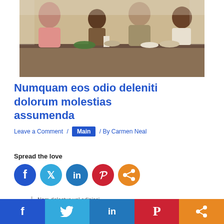[Figure (photo): Family in kitchen together, adults and children around a counter with food and bowls]
Numquam eos odio deleniti dolorum molestias assumenda
Leave a Comment / Main / By Carmen Neal
Spread the love
[Figure (infographic): Social sharing icons: Facebook (blue circle), Twitter (light blue circle), LinkedIn (blue circle), Pinterest (red circle), Share (orange circle)]
Nam delectus vel adipisci
[Figure (infographic): Bottom social share bar with icons for Facebook, Twitter, LinkedIn, Pinterest, and Share button]